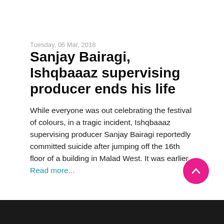Tuesday, 06 Mar, 2018
Sanjay Bairagi, Ishqbaaaz supervising producer ends his life
While everyone was out celebrating the festival of colours, in a tragic incident, Ishqbaaaz supervising producer Sanjay Bairagi reportedly committed suicide after jumping off the 16th floor of a building in Malad West. It was earlier Read more...